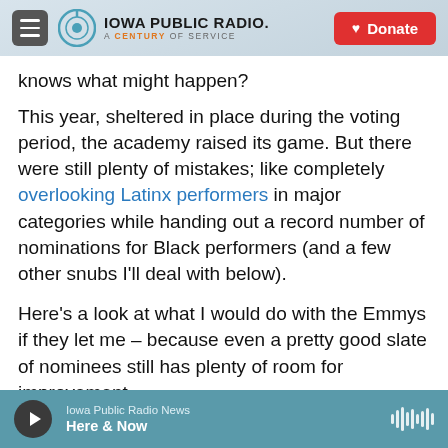Iowa Public Radio — A Century of Service | Donate
knows what might happen?
This year, sheltered in place during the voting period, the academy raised its game. But there were still plenty of mistakes; like completely overlooking Latinx performers in major categories while handing out a record number of nominations for Black performers (and a few other snubs I'll deal with below).
Here's a look at what I would do with the Emmys if they let me – because even a pretty good slate of nominees still has plenty of room for improvement.
Iowa Public Radio News — Here & Now